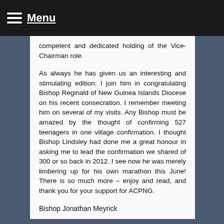Menu
competent and dedicated holding of the Vice-Chairman role.
As always he has given us an interesting and stimulating edition: I join him in congratulating Bishop Reginald of New Guinea Islands Diocese on his recent consecration. I remember meeting him on several of my visits. Any Bishop must be amazed by the thought of confirming 527 teenagers in one village confirmation. I thought Bishop Lindsley had done me a great honour in asking me to lead the confirmation we shared of 300 or so back in 2012. I see now he was merely limbering up for his own marathon this June! There is so much more – enjoy and read, and thank you for your support for ACPNG.
Bishop Jonathan Meyrick